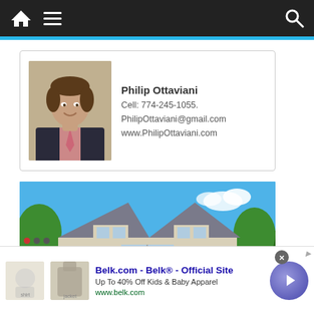Navigation bar with home icon, hamburger menu, and search icon
Philip Ottaviani
Cell: 774-245-1055.
PhilipOttaviani@gmail.com
www.PhilipOttaviani.com
[Figure (photo): Photo of a large two-story house with gray siding, multiple gabled dormers, and surrounding trees under a blue sky]
Belk.com - Belk® - Official Site
Up To 40% Off Kids & Baby Apparel
www.belk.com